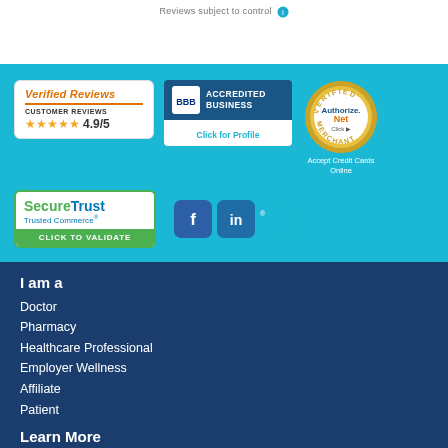Reviews subject to control
[Figure (logo): Verified Reviews - Customer Reviews 4.9/5 stars badge]
[Figure (logo): BBB Accredited Business - Click for Profile badge]
[Figure (logo): Authorize.Net Verified Merchant - Accept Credit Cards Online badge]
[Figure (logo): SecureTrust Trusted Commerce - Click to Validate badge]
[Figure (logo): Facebook, LinkedIn, Twitter social media icons]
I am a
Doctor
Pharmacy
Healthcare Professional
Employer Wellness
Affiliate
Patient
Learn More